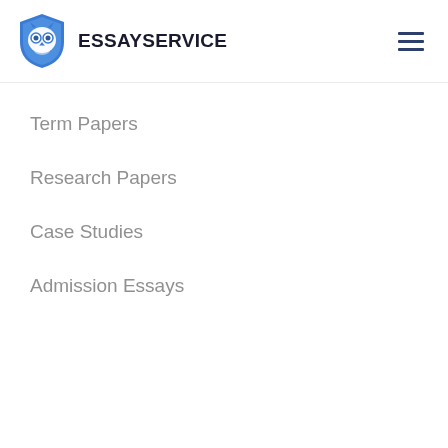[Figure (logo): EssayService owl logo — a blue shield with a cartoon owl face]
ESSAYSERVICE
Term Papers
Research Papers
Case Studies
Admission Essays